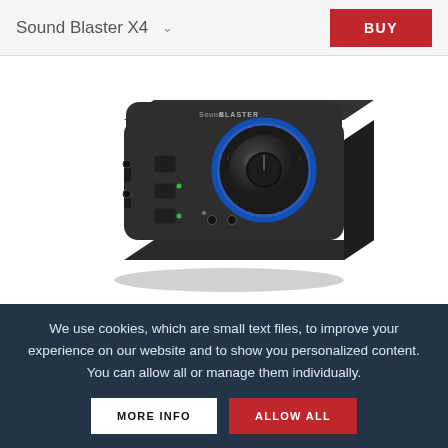Sound Blaster X4
[Figure (photo): Sound Blaster X4 external USB sound card — black square device with large illuminated blue control knob on top, smaller buttons, and audio jacks on the front. 'SoundBlaster' logo on top surface.]
We use cookies, which are small text files, to improve your experience on our website and to show you personalized content. You can allow all or manage them individually.
MORE INFO
ALLOW ALL